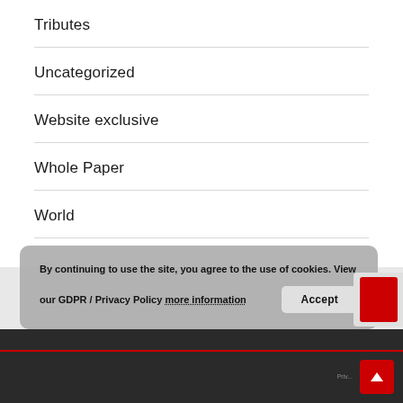Tributes
Uncategorized
Website exclusive
Whole Paper
World
By continuing to use the site, you agree to the use of cookies. View our GDPR / Privacy Policy more information  Accept